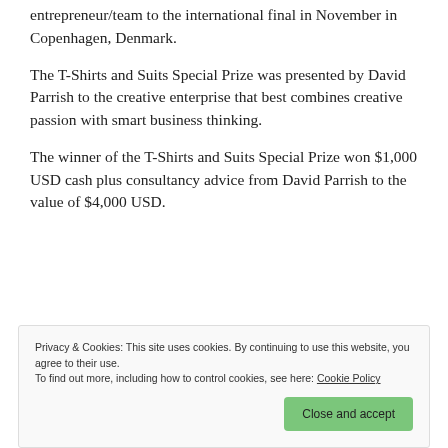entrepreneur/team to the international final in November in Copenhagen, Denmark.
The T-Shirts and Suits Special Prize was presented by David Parrish to the creative enterprise that best combines creative passion with smart business thinking.
The winner of the T-Shirts and Suits Special Prize won $1,000 USD cash plus consultancy advice from David Parrish to the value of $4,000 USD.
(partial, cut off)
Privacy & Cookies: This site uses cookies. By continuing to use this website, you agree to their use.
To find out more, including how to control cookies, see here: Cookie Policy
Close and accept